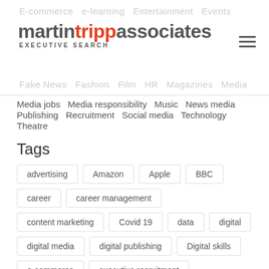martin tripp associates EXECUTIVE SEARCH
Media jobs   Media responsibility   Music   News media
Publishing   Recruitment   Social media   Technology
Theatre
Tags
advertising
Amazon
Apple
BBC
career
career management
content marketing
Covid 19
data
digital
digital media
digital publishing
Digital skills
e-commerce
executive recruitment
executive search
Facebook